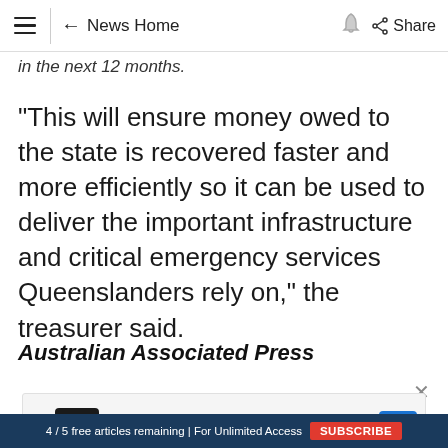≡  ← News Home  🔔  Share
in the next 12 months.
"This will ensure money owed to the state is recovered faster and more efficiently so it can be used to deliver the important infrastructure and critical emergency services Queenslanders rely on," the treasurer said.
Australian Associated Press
[Figure (screenshot): Advertisement banner: Gourmet, Fresh, Big Cookies - Crumbl Cookies - Ashburn with cookie logo and navigation arrow icon]
4 / 5 free articles remaining | For Unlimited Access  SUBSCRIBE